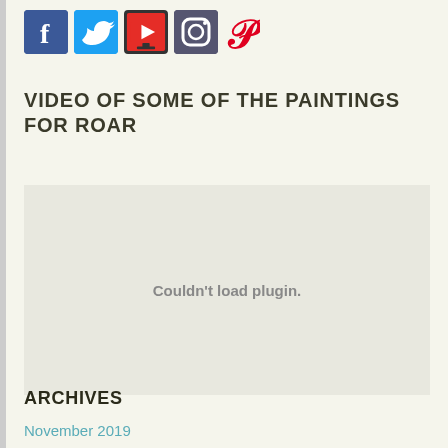[Figure (other): Social media icons: Facebook (blue), Twitter (blue), YouTube (red with border), Instagram (dark), Pinterest (red P symbol)]
VIDEO OF SOME OF THE PAINTINGS FOR ROAR
[Figure (other): Embedded video plugin area showing 'Couldn't load plugin.' message]
ARCHIVES
November 2019